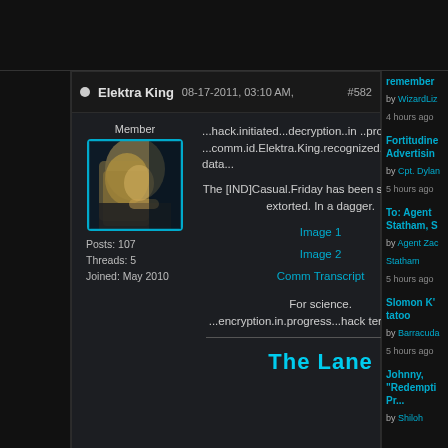Elektra King  08-17-2011, 03:10 AM,  #582
Member
[Figure (photo): Avatar photo of a blonde woman in profile view drinking, with cyan border]
Posts: 107
Threads: 5
Joined: May 2010
...hack.initiated...decryption..in ..progress...
...comm.id.Elektra.King.recognized...uploading data...

The [IND]Casual.Friday has been successfully extorted. In a dagger.

Image 1
Image 2
Comm Transcript

For science.
...encryption.in.progress...hack terminated...
The Lane
remember
by WizardLiz
4 hours ago
Fortitudine Advertisin
by Cpt. Dylan
5 hours ago
To: Agent Statham, S
by Agent Zac Statham
5 hours ago
Slomon K' tatoo
by Barracuda
5 hours ago
Johnny, "Redempti Pr...
by Shiloh